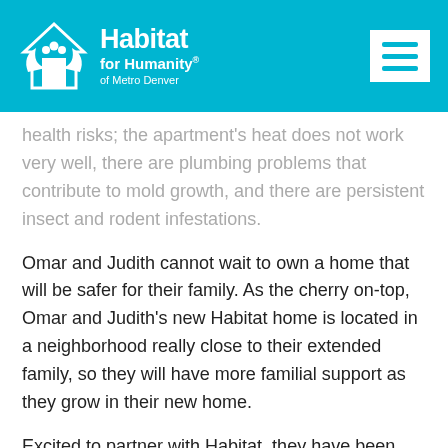Habitat for Humanity of Metro Denver
health risks; the apartment's heat does not work very well, there are plumbing problems that contribute to mold growth, and there are persistent insect and rodent infestations.
Omar and Judith cannot wait to own a home that will be safer for their family. As the cherry on-top, Omar and Judith's new Habitat home is located in a neighborhood really close to their extended family, so they will have more familial support as they grow in their new home.
Excited to partner with Habitat, they have been preparing for their home even